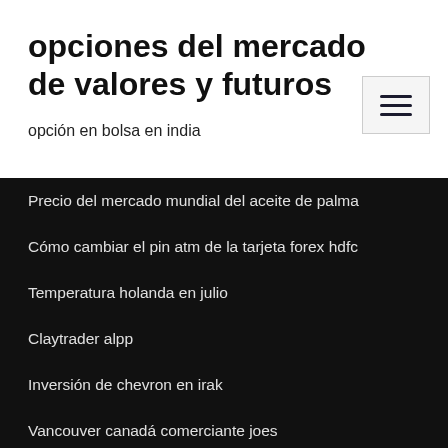opciones del mercado de valores y futuros
opción en bolsa en india
Precio del mercado mundial del aceite de palma
Cómo cambiar el pin atm de la tarjeta forex hdfc
Temperatura holanda en julio
Claytrader alpp
Inversión de chevron en irak
Vancouver canadá comerciante joes
De qué maneras puedes invertir tu dinero
Dbs tipos de cambio ringgit malayo